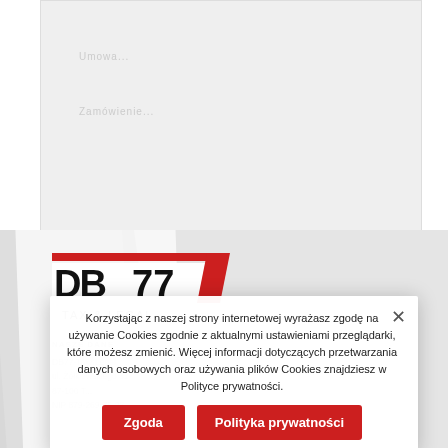[Figure (screenshot): Gray document/paper background area at top of page]
[Figure (logo): DB77 Tax & Legal logo with red and black stylized text and red diagonal slash]
NASZE DANE
DB77-Tax&Legal
ul. Żółkiewskiego 31
87-100 T...
NIP 879-269-75-28
Korzystając z naszej strony internetowej wyrażasz zgodę na używanie Cookies zgodnie z aktualnymi ustawieniami przeglądarki, które możesz zmienić. Więcej informacji dotyczących przetwarzania danych osobowych oraz używania plików Cookies znajdziesz w Polityce prywatności.
Zgoda
Polityka prywatności